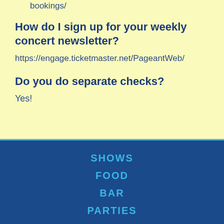bookings/
How do I sign up for your weekly concert newsletter?
https://engage.ticketmaster.net/PageantWeb/
Do you do separate checks?
Yes!
SHOWS
FOOD
BAR
PARTIES